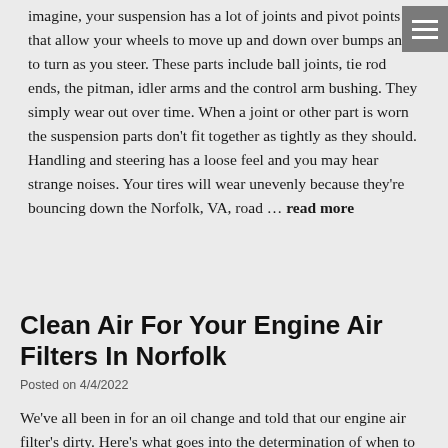imagine, your suspension has a lot of joints and pivot points that allow your wheels to move up and down over bumps and to turn as you steer. These parts include ball joints, tie rod ends, the pitman, idler arms and the control arm bushing. They simply wear out over time. When a joint or other part is worn the suspension parts don't fit together as tightly as they should. Handling and steering has a loose feel and you may hear strange noises. Your tires will wear unevenly because they're bouncing down the Norfolk, VA, road … read more
Clean Air For Your Engine Air Filters In Norfolk
Posted on 4/4/2022
We've all been in for an oil change and told that our engine air filter's dirty. Here's what goes into the determination of when to change the filter. There are some general guidelines that will …